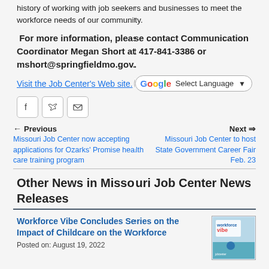history of working with job seekers and businesses to meet the workforce needs of our community.
For more information, please contact Communication Coordinator Megan Short at 417-841-3386 or mshort@springfieldmo.gov.
Visit the Job Center's Web site.
[Figure (screenshot): Google Translate 'Select Language' button with dropdown arrow]
[Figure (infographic): Social sharing buttons: Facebook, Twitter, Email]
Previous - Missouri Job Center now accepting applications for Ozarks' Promise health care training program
Next - Missouri Job Center to host State Government Career Fair Feb. 23
Other News in Missouri Job Center News Releases
Workforce Vibe Concludes Series on the Impact of Childcare on the Workforce
Posted on: August 19, 2022